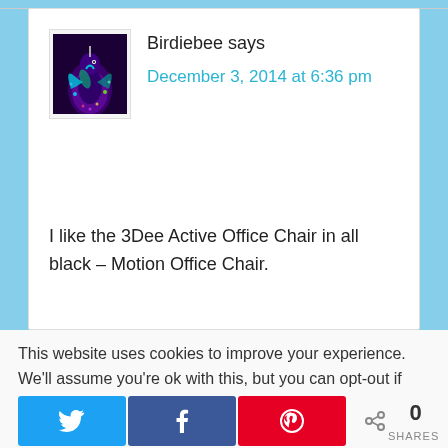[Figure (photo): Colorful hummingbird avatar image with purple, green, and teal colors on dark background]
Birdiebee says
December 3, 2014 at 6:36 pm
I like the 3Dee Active Office Chair in all black – Motion Office Chair.
This website uses cookies to improve your experience. We'll assume you're ok with this, but you can opt-out if you wish.
[Figure (infographic): Social share buttons: Twitter (blue), Facebook (dark blue), Pinterest (red), and share count showing 0 SHARES]